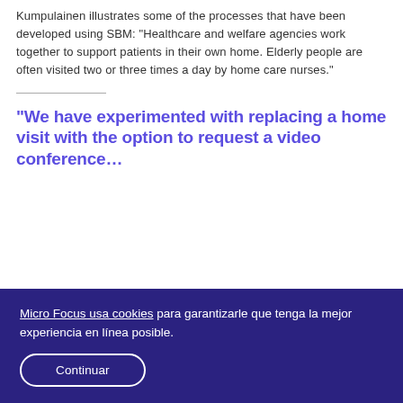Kumpulainen illustrates some of the processes that have been developed using SBM: "Healthcare and welfare agencies work together to support patients in their own home. Elderly people are often visited two or three times a day by home care nurses."
“We have experimented with replacing a home visit with the option to request a video conference…
Micro Focus usa cookies para garantizarle que tenga la mejor experiencia en línea posible.
Continuar